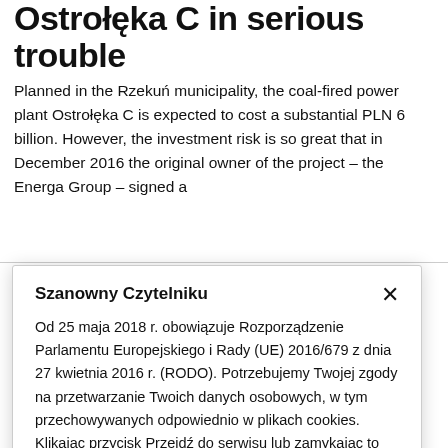Ostrołęka C in serious trouble
Planned in the Rzekuń municipality, the coal-fired power plant Ostrołęka C is expected to cost a substantial PLN 6 billion. However, the investment risk is so great that in December 2016 the original owner of the project – the Energa Group – signed a
Szanowny Czytelniku
Od 25 maja 2018 r. obowiązuje Rozporządzenie Parlamentu Europejskiego i Rady (UE) 2016/679 z dnia 27 kwietnia 2016 r. (RODO). Potrzebujemy Twojej zgody na przetwarzanie Twoich danych osobowych, w tym przechowywanych odpowiednio w plikach cookies.
Klikając przycisk Przejdź do serwisu lub zamykając to okno za pomocą przycisku X wyrażasz zgodę na zasady określone w Polityce prywatności.
Przejdź do serwisu